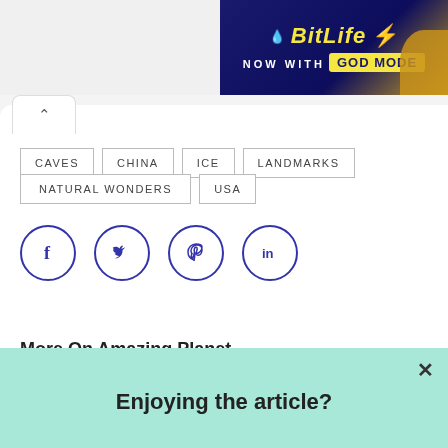[Figure (screenshot): BitLife ad banner - 'NOW WITH GOD MODE' on dark blue background with yellow lightning bolt]
CAVES
CHINA
ICE
LANDMARKS
NATURAL WONDERS
USA
[Figure (infographic): Social share buttons: Facebook, Twitter, Pinterest, LinkedIn - circular blue outlined icons]
More On Amazing Planet
Enjoying the article?